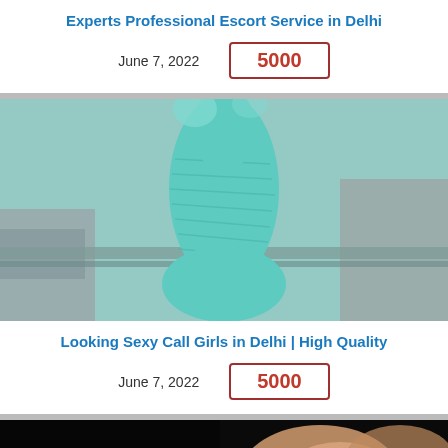Experts Professional Escort Service in Delhi
June 7, 2022   5000
[Figure (photo): Person wearing a form-fitting teal/mint colored dress, photographed from mid-body, standing near a railing outdoors.]
Looking Sexy Call Girls in Delhi | High Quality
June 7, 2022   5000
[Figure (photo): Dark background photo, partially visible, showing a person in a dark setting.]